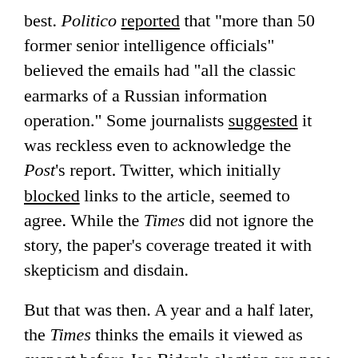best. Politico reported that "more than 50 former senior intelligence officials" believed the emails had "all the classic earmarks of a Russian information operation." Some journalists suggested it was reckless even to acknowledge the Post's report. Twitter, which initially blocked links to the article, seemed to agree. While the Times did not ignore the story, the paper's coverage treated it with skepticism and disdain.
But that was then. A year and a half later, the Times thinks the emails it viewed as suspect before Joe Biden's election are now newsworthy. "People familiar" with a federal investigation of Hunter Biden, it reports, "said prosecutors had examined emails" between him, his former business partner Devon Archer, "and others" regarding "Burisma and other foreign business activity." Those emails "were obtained by The New York Times from a cache of files that appears to have come from a laptop abandoned by Mr. Biden in a Delaware repair